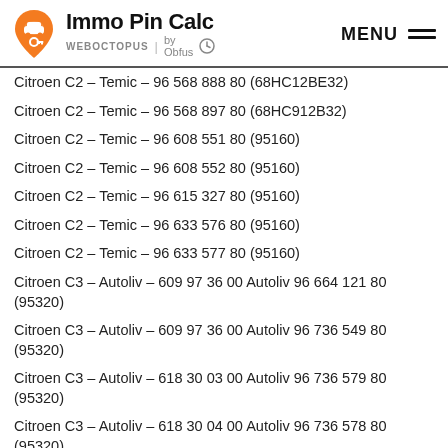Immo Pin Calc — WEBOCTOPUS by Obfus — MENU
Citroen C2 – Temic – 96 568 888 80 (68HC12BE32)
Citroen C2 – Temic – 96 568 897 80 (68HC912B32)
Citroen C2 – Temic – 96 608 551 80 (95160)
Citroen C2 – Temic – 96 608 552 80 (95160)
Citroen C2 – Temic – 96 615 327 80 (95160)
Citroen C2 – Temic – 96 633 576 80 (95160)
Citroen C2 – Temic – 96 633 577 80 (95160)
Citroen C3 – Autoliv – 609 97 36 00 Autoliv 96 664 121 80 (95320)
Citroen C3 – Autoliv – 609 97 36 00 Autoliv 96 736 549 80 (95320)
Citroen C3 – Autoliv – 618 30 03 00 Autoliv 96 736 579 80 (95320)
Citroen C3 – Autoliv – 618 30 04 00 Autoliv 96 736 578 80 (95320)
Citroen C3 – Autoliv – 620 50 48 00 (25320)